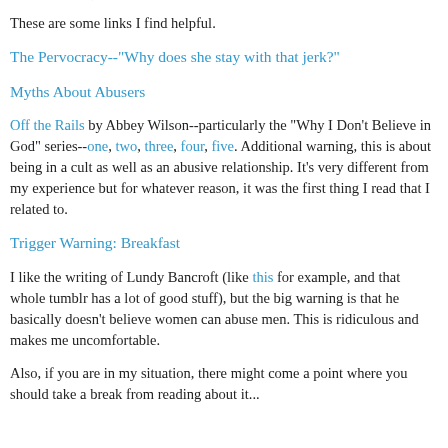unrealistically) that I'll never have to learn it again.
These are some links I find helpful.
The Pervocracy--"Why does she stay with that jerk?"
Myths About Abusers
Off the Rails by Abbey Wilson--particularly the "Why I Don't Believe in God" series--one, two, three, four, five. Additional warning, this is about being in a cult as well as an abusive relationship. It's very different from my experience but for whatever reason, it was the first thing I read that I related to.
Trigger Warning: Breakfast
I like the writing of Lundy Bancroft (like this for example, and that whole tumblr has a lot of good stuff), but the big warning is that he basically doesn't believe women can abuse men. This is ridiculous and makes me uncomfortable.
Also, if you are in my situation, there might come a point where you should take a break from reading about it...